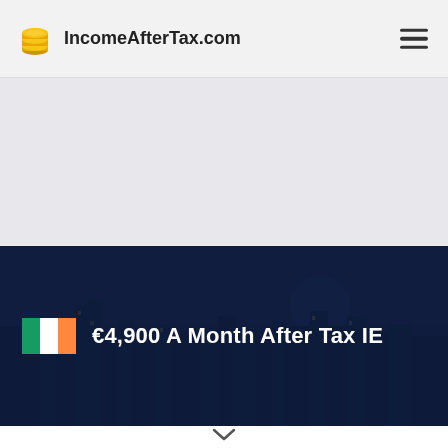IncomeAfterTax.com
[Figure (screenshot): Gray advertisement/placeholder area]
€4,900 A Month After Tax IE